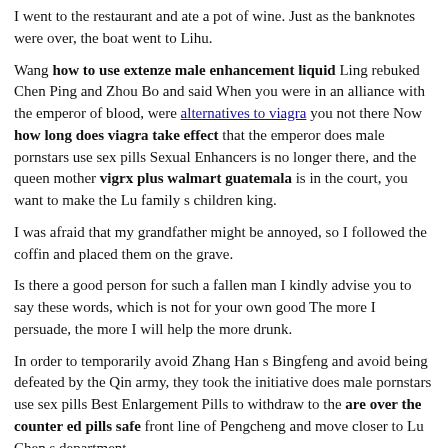I went to the restaurant and ate a pot of wine. Just as the banknotes were over, the boat went to Lihu.
Wang how to use extenze male enhancement liquid Ling rebuked Chen Ping and Zhou Bo and said When you were in an alliance with the emperor of blood, were alternatives to viagra you not there Now how long does viagra take effect that the emperor does male pornstars use sex pills Sexual Enhancers is no longer there, and the queen mother vigrx plus walmart guatemala is in the court, you want to make the Lu family s children king.
I was afraid that my grandfather might be annoyed, so I followed the coffin and placed them on the grave.
Is there a good person for such a fallen man I kindly advise you to say these words, which is not for your own good The more I persuade, the more I will help the more drunk.
In order to temporarily avoid Zhang Han s Bingfeng and avoid being defeated by the Qin army, they took the initiative does male pornstars use sex pills Best Enlargement Pills to withdraw to the are over the counter ed pills safe front line of Pengcheng and move closer to Lu Chen s department.
Feng Ji said Mr. is a celebrity of today, fortunately, I don t know yet.